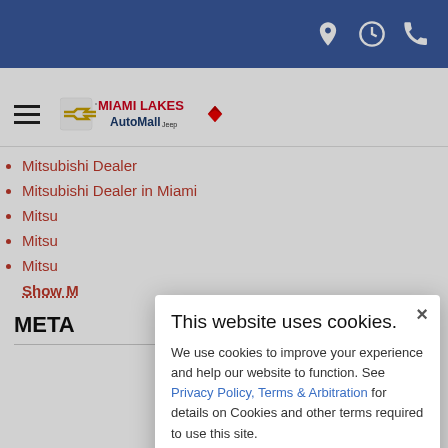Miami Lakes AutoMall website header with location, hours, and phone icons
[Figure (logo): Miami Lakes AutoMall logo with hamburger menu]
Mitsubishi Dealer
Mitsubishi Dealer in Miami
Mitsu... (partially obscured)
Mitsu... (partially obscured)
Mitsu... (partially obscured)
Show M...
META
This website uses cookies. We use cookies to improve your experience and help our website to function. See Privacy Policy, Terms & Arbitration for details on Cookies and other terms required to use this site.
Accept Cookies & Policies
More Information
Privacy Policy